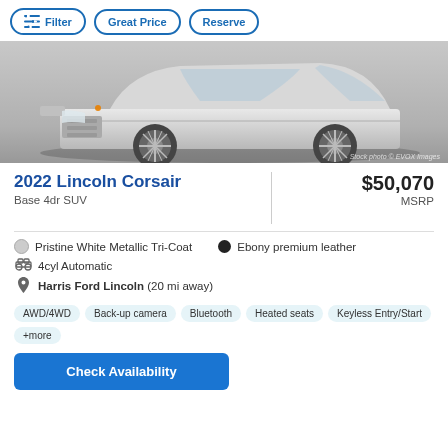Filter | Great Price | Reserve
[Figure (photo): Silver/white Lincoln Corsair SUV front-side view, stock photo on gray gradient background. Watermark: Stock photo © EVOX Images]
2022 Lincoln Corsair
$50,070 MSRP
Base 4dr SUV
Pristine White Metallic Tri-Coat   Ebony premium leather
4cyl Automatic
Harris Ford Lincoln (20 mi away)
AWD/4WD
Back-up camera
Bluetooth
Heated seats
Keyless Entry/Start
+more
Check Availability